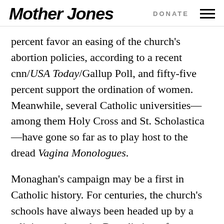Mother Jones | DONATE
percent favor an easing of the church's abortion policies, according to a recent cnn/USA Today/Gallup Poll, and fifty-five percent support the ordination of women. Meanwhile, several Catholic universities—among them Holy Cross and St. Scholastica—have gone so far as to play host to the dread Vagina Monologues.
Monaghan's campaign may be a first in Catholic history. For centuries, the church's schools have always been headed up by a religious order—the Benedictines, for instance, or the Jesuits. Monaghan, though, is stealing a page from Protestant evangelicals such as Pat Robertson and Jerry Falwell and invoking a decidedly corporate structure. "I'm a